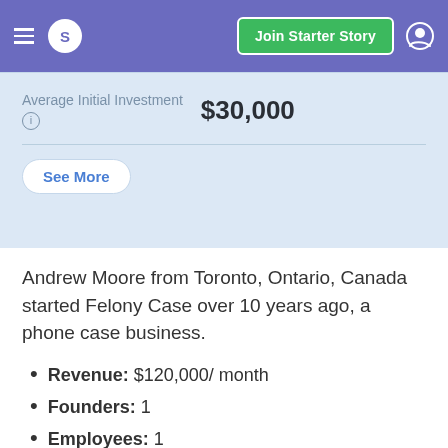S | Join Starter Story
Average Initial Investment $30,000
See More
Andrew Moore from Toronto, Ontario, Canada started Felony Case over 10 years ago, a phone case business.
Revenue: $120,000/ month
Founders: 1
Employees: 1
Location: Toronto, Ontario, Canada